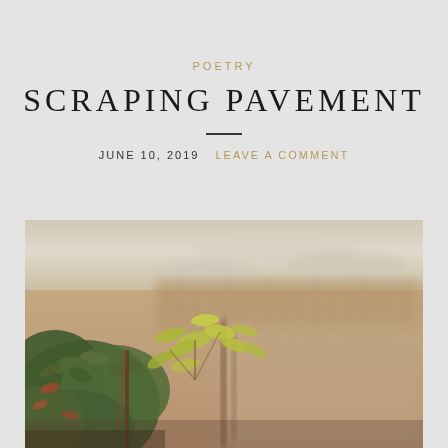POETRY
SCRAPING PAVEMENT
JUNE 10, 2019   LEAVE A COMMENT
[Figure (photo): Close-up photograph of a leafy shrub or bush with green and yellow-green leaves in the foreground, with a blurred background showing a fence and open field or wetland under a cloudy sky. Warm, muted autumn tones.]